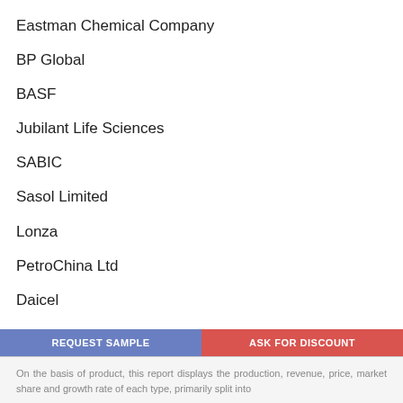Eastman Chemical Company
BP Global
BASF
Jubilant Life Sciences
SABIC
Sasol Limited
Lonza
PetroChina Ltd
Daicel
On the basis of product, this report displays the production, revenue, price, market share and growth rate of each type, primarily split into